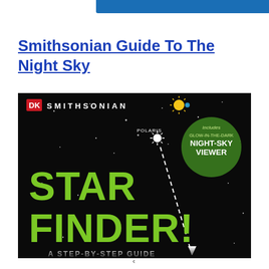Smithsonian Guide To The Night Sky
[Figure (photo): Book cover of 'DK Smithsonian Star Finder! A Step-by-Step Guide' showing a black night sky background with green text reading STAR FINDER!, a star labeled POLARIS, a dashed line pointer, and a badge reading 'Includes Glow-in-the-Dark Night-Sky Viewer'. DK and Smithsonian logos at top.]